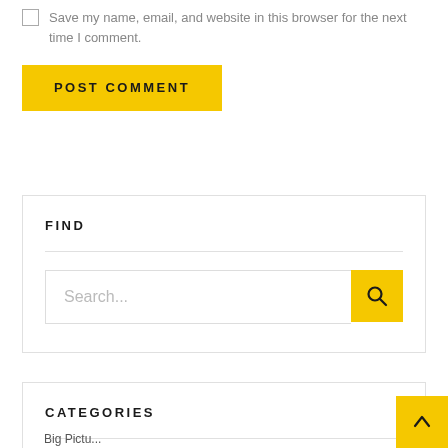Save my name, email, and website in this browser for the next time I comment.
POST COMMENT
FIND
Search...
CATEGORIES
Big Picture